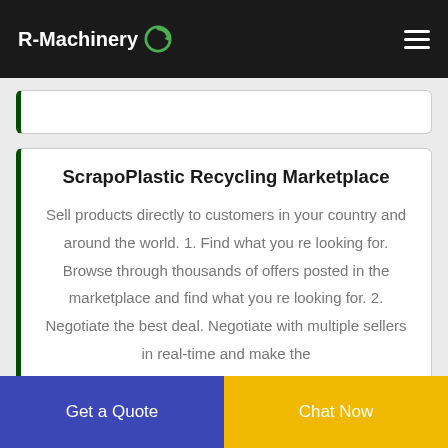R-Machinery
ScrapoPlastic Recycling Marketplace
Sell products directly to customers in your country and around the world. 1. Find what you re looking for. Browse through thousands of offers posted in the marketplace and find what you re looking for. 2. Negotiate the best deal. Negotiate with multiple sellers in real-time and make the
Scrap Dealers in Dubai Sharjah UAE Recycling Companies
Get a Quote
Chat Now